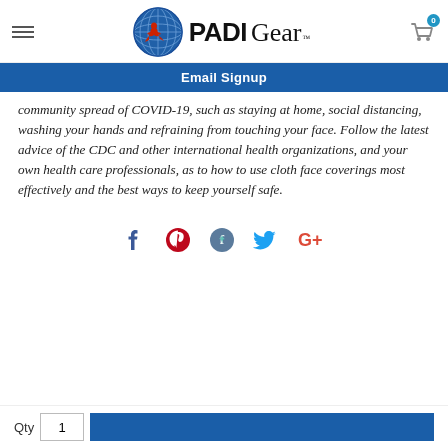[Figure (logo): PADI Gear logo with globe icon and shopping cart with badge showing 0]
Email Signup
community spread of COVID-19, such as staying at home, social distancing, washing your hands and refraining from touching your face. Follow the latest advice of the CDC and other international health organizations, and your own health care professionals, as to how to use cloth face coverings most effectively and the best ways to keep yourself safe.
[Figure (infographic): Social sharing icons row: Facebook (blue), Pinterest (red), Fancy (teal/dark), Twitter (blue), Google+ (red)]